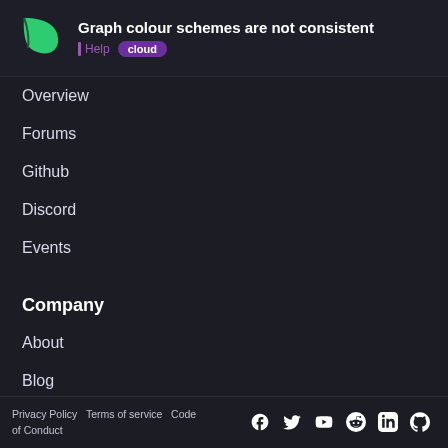Graph colour schemes are not consistent | Help cloud
Overview
Forums
Github
Discord
Events
Company
About
Blog
News
Jobs
Privacy Policy  Terms of service  Code of Conduct  [Facebook] [Twitter] [YouTube] [Reddit] [LinkedIn] [GitHub]